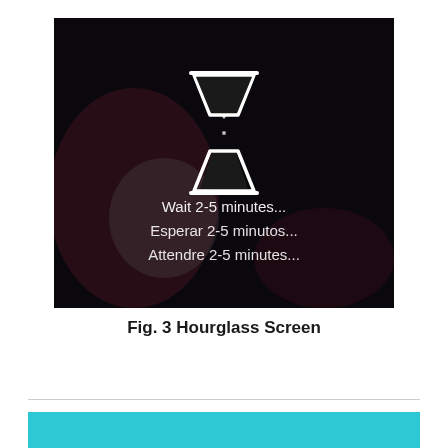[Figure (screenshot): A dark, near-black screen (with reddish-purple smudge textures) showing a white hourglass icon in the center-upper area, followed by three lines of white text: 'Wait 2-5 minutes...', 'Esperar 2-5 minutos...', 'Attendre 2-5 minutes...']
Fig. 3 Hourglass Screen